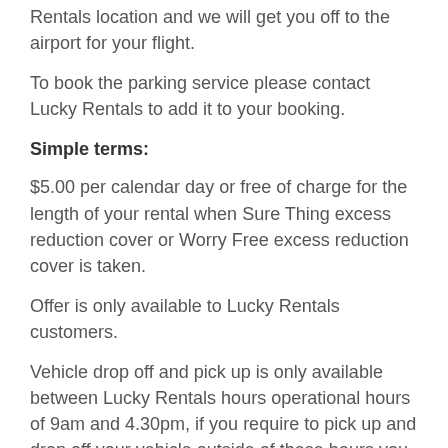Rentals location and we will get you off to the airport for your flight.
To book the parking service please contact Lucky Rentals to add it to your booking.
Simple terms:
$5.00 per calendar day or free of charge for the length of your rental when Sure Thing excess reduction cover or Worry Free excess reduction cover is taken.
Offer is only available to Lucky Rentals customers.
Vehicle drop off and pick up is only available between Lucky Rentals hours operational hours of 9am and 4.30pm, if you require to pick up and drop off your vehicle outside of these hours you will need to find alternative options.
A key must be left with Lucky Rentals during your hire.
Lucky Rentals will not drive your car on the road